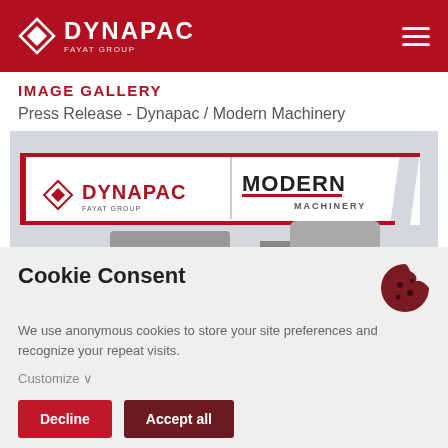[Figure (logo): Dynapac FAYAT GROUP logo in white on dark red header background with hamburger menu icon]
IMAGE GALLERY
Press Release - Dynapac / Modern Machinery
[Figure (photo): Photo of Dynapac / Modern Machinery co-branded equipment with both logos visible on a white panel above machinery]
Cookie Consent
We use anonymous cookies to store your site preferences and recognize your repeat visits.
Customize ∨
Decline
Accept all
[Figure (photo): Partial bottom strip of another photo, dark toned machinery image]